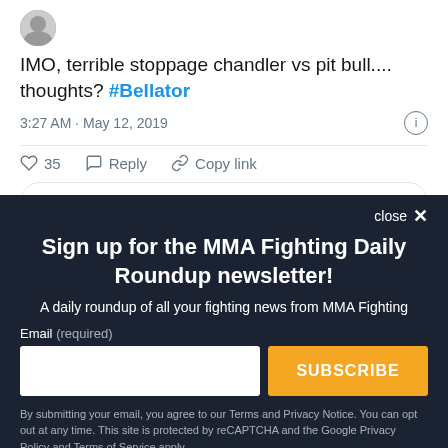IMO, terrible stoppage chandler vs pit bull.... thoughts? #Bellator
3:27 AM · May 12, 2019
35  Reply  Copy link
Read 8 replies
close ×
Sign up for the MMA Fighting Daily Roundup newsletter!
A daily roundup of all your fighting news from MMA Fighting
Email (required)
SUBSCRIBE
By submitting your email, you agree to our Terms and Privacy Notice. You can opt out at any time. This site is protected by reCAPTCHA and the Google Privacy Policy and Terms of Service apply.